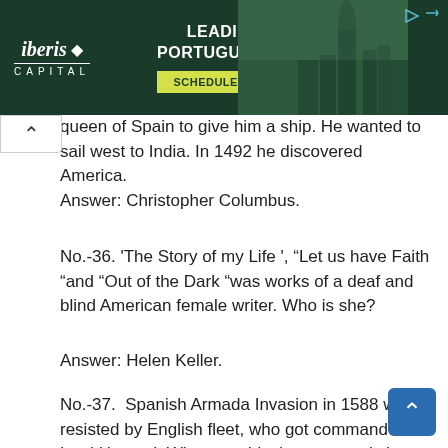[Figure (screenshot): Advertisement banner for Iberis Capital: 'LEADING FUNDS FOR PORTUGUESE GOLDEN VISA' with 'SCHEDULE A FREE CONSULTATION' button, city background image]
queen of Spain to give him a ship. He wanted to sail west to India. In 1492 he discovered America.
Answer: Christopher Columbus.
No.-36. 'The Story of my Life ', "Let us have Faith "and "Out of the Dark "was works of a deaf and blind American female writer. Who is she?
Answer: Helen Keller.
No.-37.  Spanish Armada Invasion in 1588 was resisted by English fleet, who got command from Lord Howard. Who were his three seconds in command